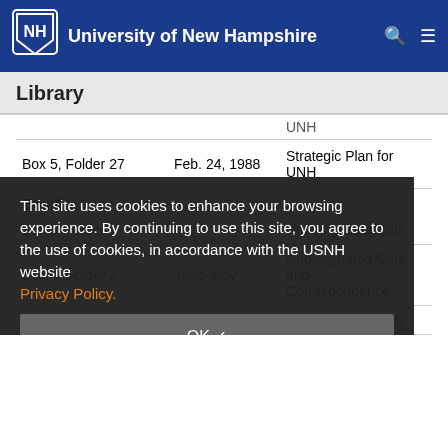University of New Hampshire
Library
| Location | Date | Description |
| --- | --- | --- |
|  | UNH |  |
| Box 5, Folder 27 | Feb. 24, 1988 | Strategic Plan for UNH |
| Box 6 |  |  |
| Box 6, Folder 1 |  | Undesignated Gifts |
| Box 6, Folder 2 | June–Nov | Undesignated Gifts and Correspondence |
| Box 6, Folder 3 | Nov. 1990 | Undesignated Gifts |
This site uses cookies to enhance your browsing experience. By continuing to use this site, you agree to the use of cookies, in accordance with the USNH website Privacy Policy.
OK ✓